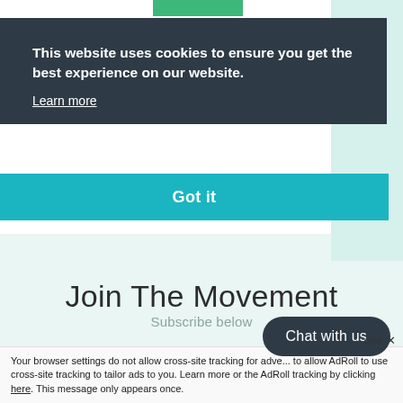[Figure (screenshot): Green tab decoration at top of cookie banner]
This website uses cookies to ensure you get the best experience on our website.
Learn more
Got it
Join The Movement
Subscribe below
Chat with us
ose ✕
Your browser settings do not allow cross-site tracking for advertising. Check the setting in your browser to allow AdRoll to use cross-site tracking to tailor ads to you. Learn more or opt-out of the AdRoll tracking by clicking here. This message only appears once.